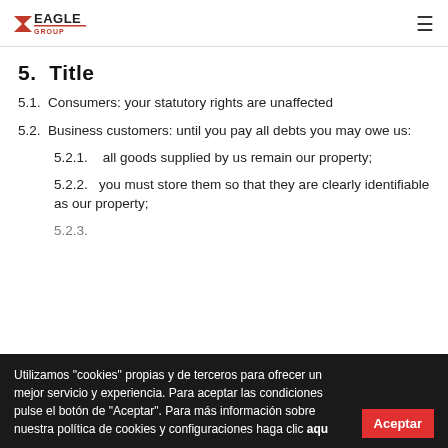Eagle Group
5.  Title
5.1.  Consumers: your statutory rights are unaffected
5.2.  Business customers: until you pay all debts you may owe us:
5.2.1.    all goods supplied by us remain our property;
5.2.2.   you must store them so that they are clearly identifiable as our property;
Utilizamos "cookies" propias y de terceros para ofrecer un mejor servicio y experiencia. Para aceptar las condiciones pulse el botón de "Aceptar". Para más información sobre nuestra política de cookies y configuraciones haga clic aquí